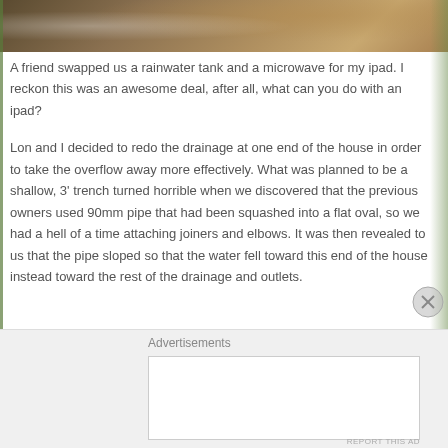[Figure (photo): Partial photo strip at top showing wooden/outdoor materials in brown and tan tones]
A friend swapped us a rainwater tank and a microwave for my ipad. I reckon this was an awesome deal, after all, what can you do with an ipad?
Lon and I decided to redo the drainage at one end of the house in order to take the overflow away more effectively. What was planned to be a shallow, 3' trench turned horrible when we discovered that the previous owners used 90mm pipe that had been squashed into a flat oval, so we had a hell of a time attaching joiners and elbows. It was then revealed to us that the pipe sloped so that the water fell toward this end of the house instead toward the rest of the drainage and outlets.
Advertisements